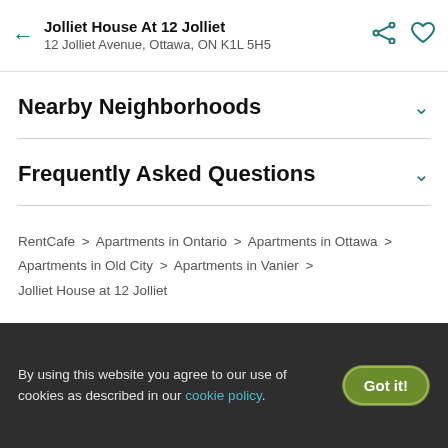Jolliet House At 12 Jolliet
12 Jolliet Avenue, Ottawa, ON K1L 5H5
Nearby Neighborhoods
Frequently Asked Questions
RentCafe > Apartments in Ontario > Apartments in Ottawa > Apartments in Old City > Apartments in Vanier > Jolliet House at 12 Jolliet
By using this website you agree to our use of cookies as described in our cookie policy.